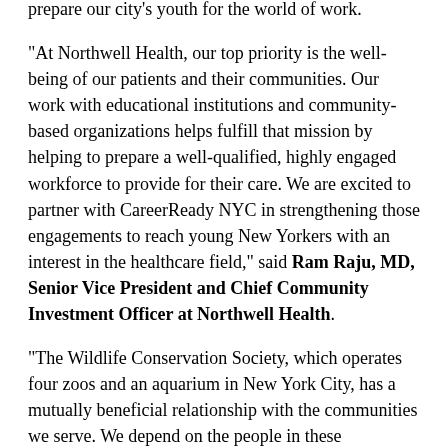prepare our city's youth for the world of work.
“At Northwell Health, our top priority is the well-being of our patients and their communities. Our work with educational institutions and community-based organizations helps fulfill that mission by helping to prepare a well-qualified, highly engaged workforce to provide for their care. We are excited to partner with CareerReady NYC in strengthening those engagements to reach young New Yorkers with an interest in the healthcare field,” said Ram Raju, MD, Senior Vice President and Chief Community Investment Officer at Northwell Health.
“The Wildlife Conservation Society, which operates four zoos and an aquarium in New York City, has a mutually beneficial relationship with the communities we serve. We depend on the people in these neighborhoods to help make a trip to the zoo or aquarium a great experience for our guests, and we are proud to offer the opportunity for